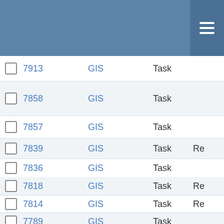| # | ID | Type | Status | Extra |
| --- | --- | --- | --- | --- |
| ☐ | 7913 | GIS | Task |  |
| ☐ | 7858 | GIS | Task |  |
| ☐ | 7857 | GIS | Task |  |
| ☐ | 7839 | GIS | Task | Re |
| ☐ | 7836 | GIS | Task |  |
| ☐ | 7818 | GIS | Task | Re |
| ☐ | 7814 | GIS | Task | Re |
| ☐ | 7789 | GIS | Task |  |
| ☐ | 7786 | GIS | Task | Re |